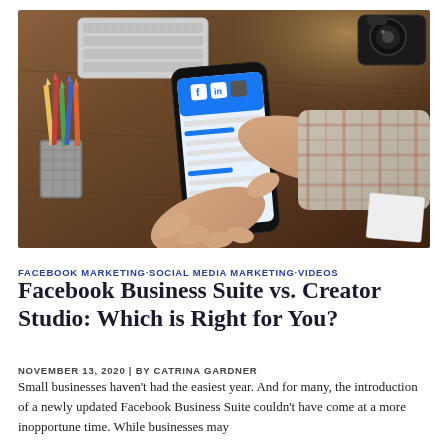[Figure (photo): Overhead view of person holding a smartphone showing Facebook app, with keyboard, pencil cup, and camera on a wooden desk]
FACEBOOK MARKETING·SOCIAL MEDIA MARKETING·VIDEOS
Facebook Business Suite vs. Creator Studio: Which is Right for You?
NOVEMBER 13, 2020 | BY CATRINA GARDNER
Small businesses haven't had the easiest year. And for many, the introduction of a newly updated Facebook Business Suite couldn't have come at a more inopportune time. While businesses may